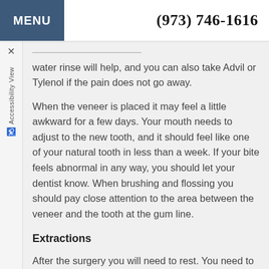MENU   (973) 746-1616
water rinse will help, and you can also take Advil or Tylenol if the pain does not go away.
When the veneer is placed it may feel a little awkward for a few days. Your mouth needs to adjust to the new tooth, and it should feel like one of your natural tooth in less than a week. If your bite feels abnormal in any way, you should let your dentist know. When brushing and flossing you should pay close attention to the area between the veneer and the tooth at the gum line.
Extractions
After the surgery you will need to rest. You need to be driven home by a friend or family member because of the anesthesia. You may need further attention...